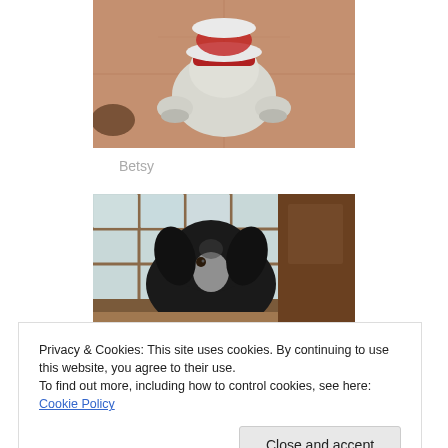[Figure (photo): Top-down photo of a small dog wearing a red and white Santa costume on a tiled floor]
Betsy
[Figure (photo): Black dog with white markings standing near a glass-paned window/door indoors]
Privacy & Cookies: This site uses cookies. By continuing to use this website, you agree to their use.
To find out more, including how to control cookies, see here: Cookie Policy
Close and accept
[Figure (photo): Partial view of a dog photo at bottom of page]